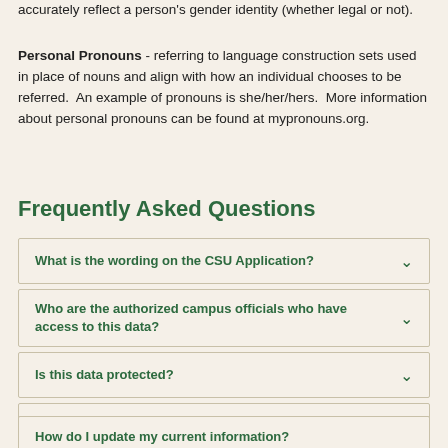accurately reflect a person's gender identity (whether legal or not).
Personal Pronouns - referring to language construction sets used in place of nouns and align with how an individual chooses to be referred. An example of pronouns is she/her/hers. More information about personal pronouns can be found at mypronouns.org.
Frequently Asked Questions
What is the wording on the CSU Application?
Who are the authorized campus officials who have access to this data?
Is this data protected?
How will Cal Poly use my responses?
How do I update my current information? (Identity, Preferred Name, Personal Pronouns)